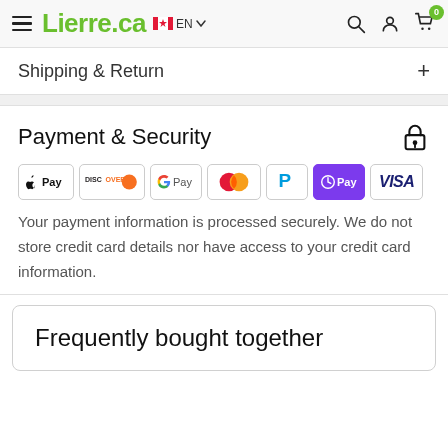Lierre.ca — EN navigation header with hamburger menu, search, account, and cart icons
Shipping & Return
Payment & Security
[Figure (logo): Payment method logos: Apple Pay, Discover, Google Pay, Mastercard, PayPal, OPay/Afterpay, Visa]
Your payment information is processed securely. We do not store credit card details nor have access to your credit card information.
Frequently bought together